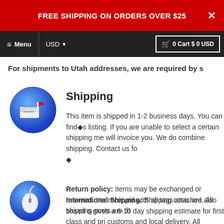FREE SHIPPING ON ORDERS OVER $25
Menu  USD  0 Cart $ 0 USD
For shipments to Utah addresses, we are required by s
[Figure (illustration): Blue circular icon with a mailbox and flag]
Shipping
This item is shipped in 1-2 business days. You can find◆s listing. If you are unable to select a certain shipping me will invoice you. We do combine shipping. Contact us fo ◆
International Shipping: Shipping costs are also based o gives a 6-10 day shipping estimate for first class and pri customs and local delivery. All customs duties and fees estimate on shipping for multiple items please contact
[Figure (illustration): Blue circular icon with a computer mouse]
Return policy: Items may be exchanged or returned. Iter received with all tags attached. All shipping costs are th